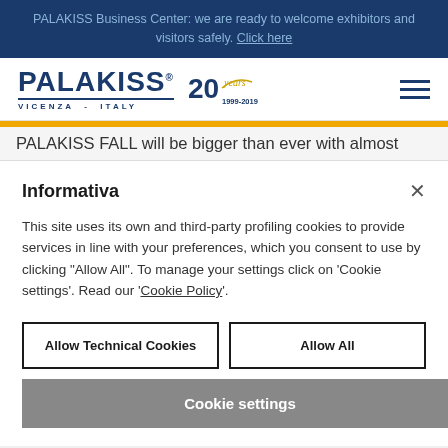PALAKISS Business Center: we are ready to welcome exhibitors and visitors safely. Click here
[Figure (logo): PALAKISS logo with VICENZA - ITALY text and 20 years anniversary logo (1999-2019) and hamburger menu icon]
PALAKISS FALL will be bigger than ever with almost
Informativa
This site uses its own and third-party profiling cookies to provide services in line with your preferences, which you consent to use by clicking "Allow All". To manage your settings click on 'Cookie settings'. Read our 'Cookie Policy'.
Allow Technical Cookies
Allow All
Cookie settings